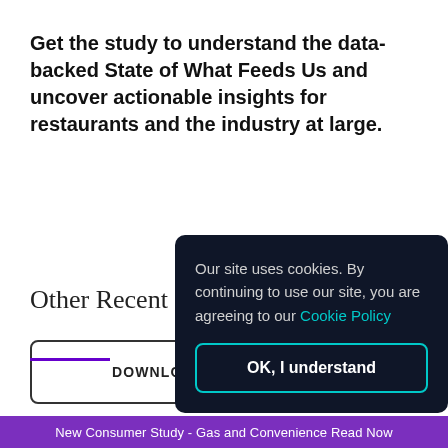Get the study to understand the data-backed State of What Feeds Us and uncover actionable insights for restaurants and the industry at large.
DOWNLOAD THE S…
Our site uses cookies. By continuing to use our site, you are agreeing to our Cookie Policy
OK, I understand
Other Recent Studies
New Consumer Study - Gas and Convenience Read Now